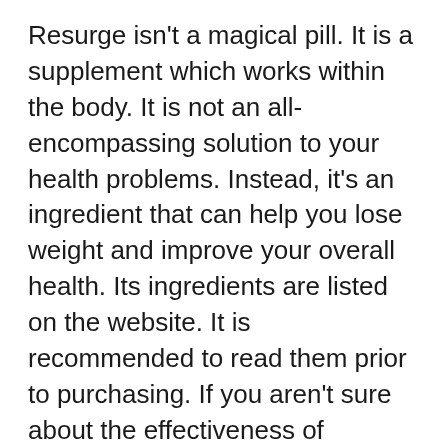Resurge isn't a magical pill. It is a supplement which works within the body. It is not an all-encompassing solution to your health problems. Instead, it's an ingredient that can help you lose weight and improve your overall health. Its ingredients are listed on the website. It is recommended to read them prior to purchasing. If you aren't sure about the effectiveness of Resurge then you should contact the manufacturer. Reviews of the product will help you determine whether Resurge is safe to use.
Its ingredients are safe to use. In fact, many of them are found in similar products. There are no adverse effects with Resurge, however it is a secure method to shed...